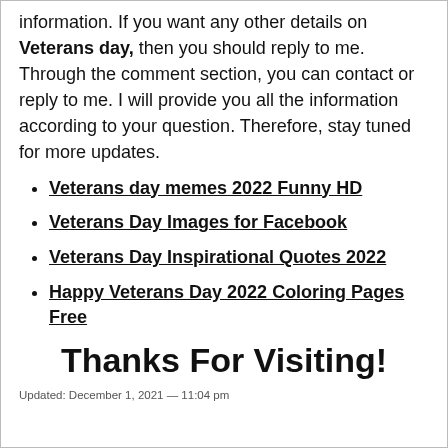information. If you want any other details on Veterans day, then you should reply to me. Through the comment section, you can contact or reply to me. I will provide you all the information according to your question. Therefore, stay tuned for more updates.
Veterans day memes 2022 Funny HD
Veterans Day Images for Facebook
Veterans Day Inspirational Quotes 2022
Happy Veterans Day 2022 Coloring Pages Free
Thanks For Visiting!
Updated: December 1, 2021 — 11:04 pm